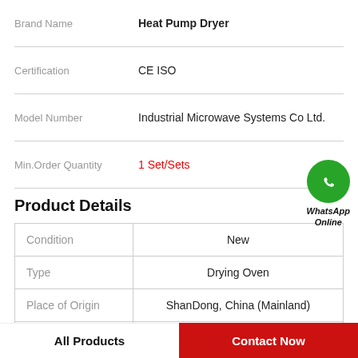|  |  |
| --- | --- |
| Brand Name | Heat Pump Dryer |
| Certification | CE ISO |
| Model Number | Industrial Microwave Systems Co Ltd. |
| Min.Order Quantity | 1 Set/Sets |
Product Details
|  |  |
| --- | --- |
| Condition | New |
| Type | Drying Oven |
| Place of Origin | ShanDong, China (Mainland) |
| Brand Name | LD |
WhatsApp Online
All Products | Contact Now